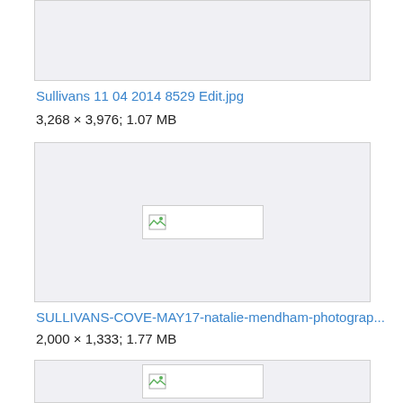[Figure (other): Truncated image box at top of page (image not loaded)]
Sullivans 11 04 2014 8529 Edit.jpg
3,268 × 3,976; 1.07 MB
[Figure (other): Broken image placeholder with icon, gray background box]
SULLIVANS-COVE-MAY17-natalie-mendham-photograp...
2,000 × 1,333; 1.77 MB
[Figure (other): Partial image box at bottom of page (image not loaded)]